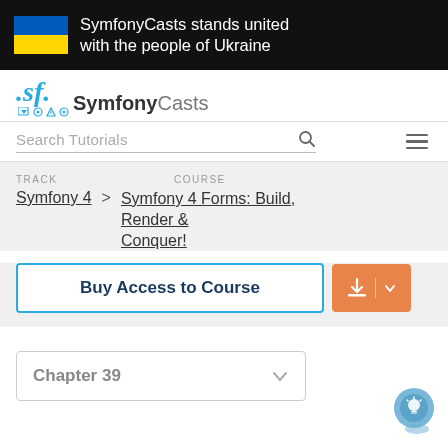[Figure (infographic): Ukrainian flag (blue and yellow) with text: SymfonyCasts stands united with the people of Ukraine on black background]
[Figure (logo): SymfonyCasts logo with SF icon and wordmark]
Search Tutorials
TRACK   COURSE
Symfony 4 > Symfony 4 Forms: Build, Render & Conquer!
Buy Access to Course
Chapter 39
[Figure (illustration): Light bulb chat bubble icon in bottom right corner]